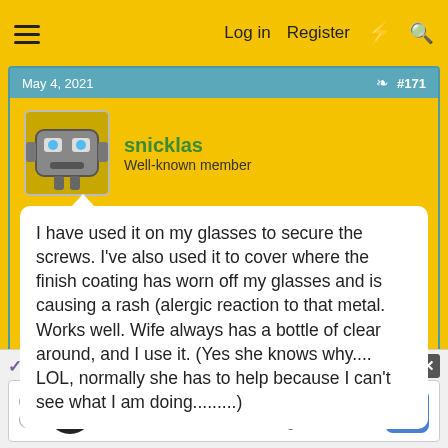Log in  Register
May 4, 2021  #171
snicklas
Well-known member
I have used it on my glasses to secure the screws. I've also used it to cover where the finish coating has worn off my glasses and is causing a rash (alergic reaction to that metal. Works well. Wife always has a bottle of clear around, and I use it. (Yes she knows why.... LOL, normally she has to help because I can't see what I am doing.........)
Reply
danderson
Report Ad
Leesburg  OPEN  10AM–9PM
241 Fort Evans Rd NE, Leesburg